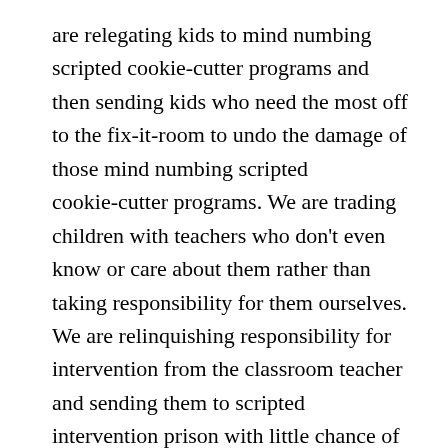are relegating kids to mind numbing scripted cookie-cutter programs and then sending kids who need the most off to the fix-it-room to undo the damage of those mind numbing scripted cookie-cutter programs. We are trading children with teachers who don't even know or care about them rather than taking responsibility for them ourselves. We are relinquishing responsibility for intervention from the classroom teacher and sending them to scripted intervention prison with little chance of escape. We are allowing levels, tests scores and labels to define our kids (and our teachers) and then relegating children to the book bins that fit the label we ask them to wear across their foreheads. We are celebrating